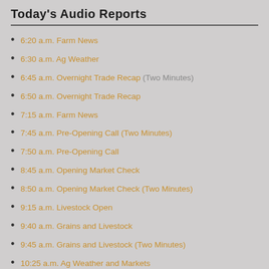Today's Audio Reports
6:20 a.m. Farm News
6:30 a.m. Ag Weather
6:45 a.m. Overnight Trade Recap (Two Minutes)
6:50 a.m. Overnight Trade Recap
7:15 a.m. Farm News
7:45 a.m. Pre-Opening Call (Two Minutes)
7:50 a.m. Pre-Opening Call
8:45 a.m. Opening Market Check
8:50 a.m. Opening Market Check (Two Minutes)
9:15 a.m. Livestock Open
9:40 a.m. Grains and Livestock
9:45 a.m. Grains and Livestock (Two Minutes)
10:25 a.m. Ag Weather and Markets
10:45 a.m. Market Check (Two Minutes)
10:55 a.m. Market Check